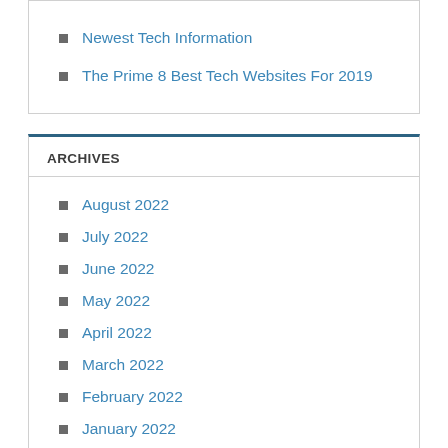Newest Tech Information
The Prime 8 Best Tech Websites For 2019
ARCHIVES
August 2022
July 2022
June 2022
May 2022
April 2022
March 2022
February 2022
January 2022
December 2021
November 2021